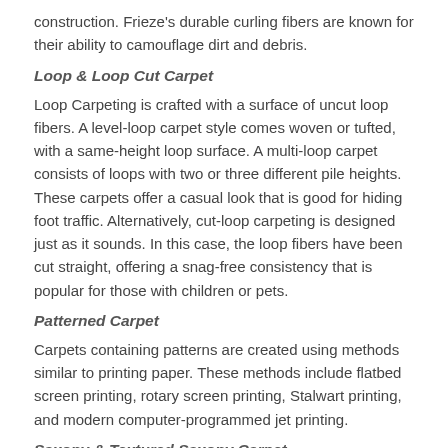construction. Frieze's durable curling fibers are known for their ability to camouflage dirt and debris.
Loop & Loop Cut Carpet
Loop Carpeting is crafted with a surface of uncut loop fibers. A level-loop carpet style comes woven or tufted, with a same-height loop surface. A multi-loop carpet consists of loops with two or three different pile heights. These carpets offer a casual look that is good for hiding foot traffic. Alternatively, cut-loop carpeting is designed just as it sounds. In this case, the loop fibers have been cut straight, offering a snag-free consistency that is popular for those with children or pets.
Patterned Carpet
Carpets containing patterns are created using methods similar to printing paper. These methods include flatbed screen printing, rotary screen printing, Stalwart printing, and modern computer-programmed jet printing.
Saxony & Textured Saxony Carpet
Saxony carpets are manufactured as cut-pile carpets that can add a